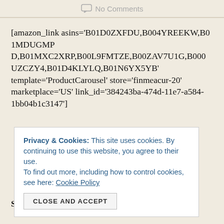No Comments
[amazon_link asins='B01D0ZXFDU,B004YREEKW,B01MDUGMPD,B01MXC2XRP,B00L9FMTZE,B00ZAV7U1G,B000UZCZY4,B01D4KLYLQ,B01N6YX5YB' template='ProductCarousel' store='finmeacur-20' marketplace='US' link_id='384243ba-474d-11e7-a584-1bb04b1c3147']
Privacy & Cookies: This site uses cookies. By continuing to use this website, you agree to their use. To find out more, including how to control cookies, see here: Cookie Policy
CLOSE AND ACCEPT
Species: A. triphyllum